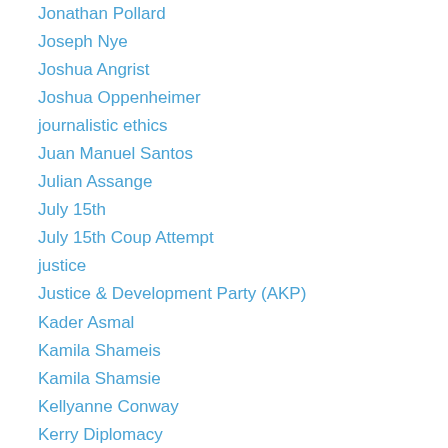Jonathan Pollard
Joseph Nye
Joshua Angrist
Joshua Oppenheimer
journalistic ethics
Juan Manuel Santos
Julian Assange
July 15th
July 15th Coup Attempt
justice
Justice & Development Party (AKP)
Kader Asmal
Kamila Shameis
Kamila Shamsie
Kellyanne Conway
Kerry Diplomacy
Khan Sheikhoun
Khomeini
Kim Jung-un
Kissinger